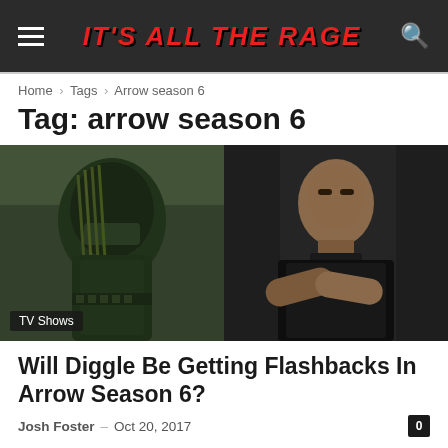IT'S ALL THE RAGE
Home › Tags › Arrow season 6
Tag: arrow season 6
[Figure (photo): Two-panel promotional image: left panel shows Green Arrow character in green hooded costume with arrows on back; right panel shows John Diggle character in black tactical gear with arms crossed]
TV Shows
Will Diggle Be Getting Flashbacks In Arrow Season 6?
Josh Foster – Oct 20, 2017